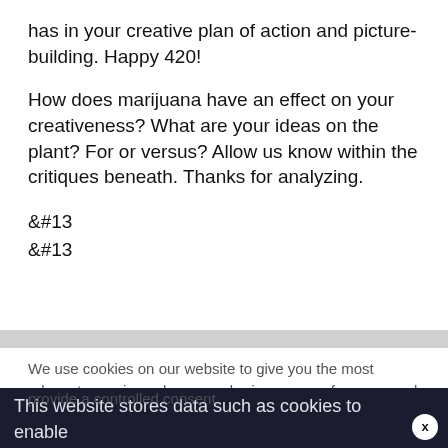has in your creative plan of action and picture-building. Happy 420!
How does marijuana have an effect on your creativeness? What are your ideas on the plant? For or versus? Allow us know within the critiques beneath. Thanks for analyzing.
&#13
&#13
We use cookies on our website to give you the most relevant experience by remembering your preferences and repeat visits. By clicking "Accept All", you consent to the use of ALL the cookies. However, you may visit "Cookie Settings" to provide a controlled consent.
This website stores data such as cookies to enable necessary site functionality, including analytics, targeting, and personalization. By remaining on this website you indicate your consent Cookie Policy